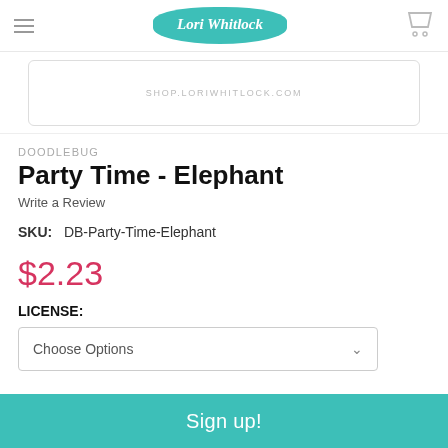Lori Whitlock
[Figure (screenshot): Partial product image frame showing shop.loriwhitlock.com watermark]
DOODLEBUG
Party Time - Elephant
Write a Review
SKU: DB-Party-Time-Elephant
$2.23
LICENSE:
Choose Options
Sign up!